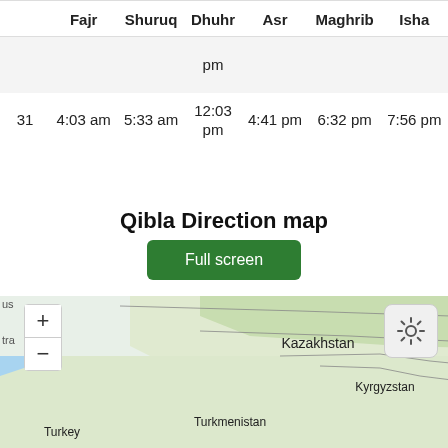|  | Fajr | Shuruq | Dhuhr | Asr | Maghrib | Isha |
| --- | --- | --- | --- | --- | --- | --- |
|  |  |  | pm |  |  |  |
| 31 | 4:03 am | 5:33 am | 12:03
pm | 4:41 pm | 6:32 pm | 7:56 pm |
Qibla Direction map
[Figure (map): Qibla Direction map showing Central Asia region including Kazakhstan, Kyrgyzstan, Turkmenistan, and Turkey, with zoom controls and settings button. A Full screen button appears above the map.]